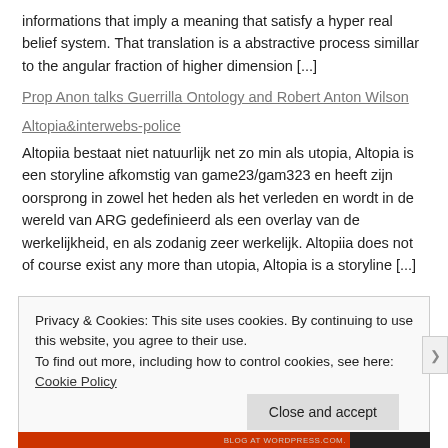informations that imply a meaning that satisfy a hyper real belief system.  That translation is a abstractive process simillar to the angular fraction of higher dimension [...]
Prop Anon talks Guerrilla Ontology and Robert Anton Wilson
Altopia&interwebs-police
Altopiia bestaat niet natuurlijk net zo min als utopia, Altopia is een storyline afkomstig van game23/gam323 en heeft zijn oorsprong in zowel het heden als het verleden en wordt in de wereld van ARG gedefinieerd als een overlay van de werkelijkheid, en als zodanig zeer werkelijk. Altopiia does not of course exist any more than utopia, Altopia is a storyline [...]
Privacy & Cookies: This site uses cookies. By continuing to use this website, you agree to their use.
To find out more, including how to control cookies, see here: Cookie Policy
Close and accept